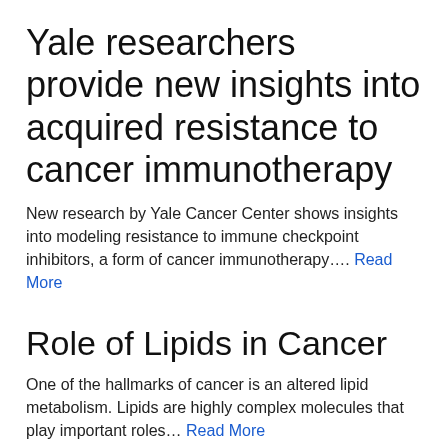Yale researchers provide new insights into acquired resistance to cancer immunotherapy
New research by Yale Cancer Center shows insights into modeling resistance to immune checkpoint inhibitors, a form of cancer immunotherapy…. Read More
Role of Lipids in Cancer
One of the hallmarks of cancer is an altered lipid metabolism. Lipids are highly complex molecules that play important roles… Read More